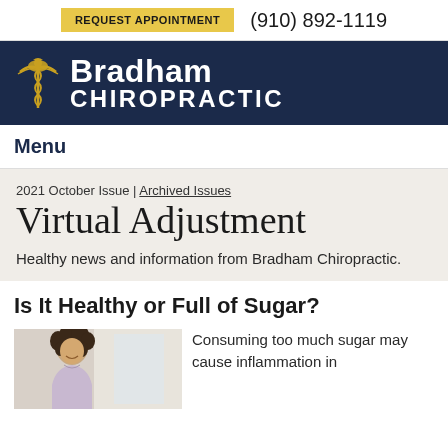REQUEST APPOINTMENT  (910) 892-1119
[Figure (logo): Bradham Chiropractic logo with caduceus icon on dark navy background. Text reads 'Bradham CHIROPRACTIC']
Menu
2021 October Issue | Archived Issues
Virtual Adjustment
Healthy news and information from Bradham Chiropractic.
Is It Healthy or Full of Sugar?
[Figure (photo): Woman with curly hair smiling indoors]
Consuming too much sugar may cause inflammation in